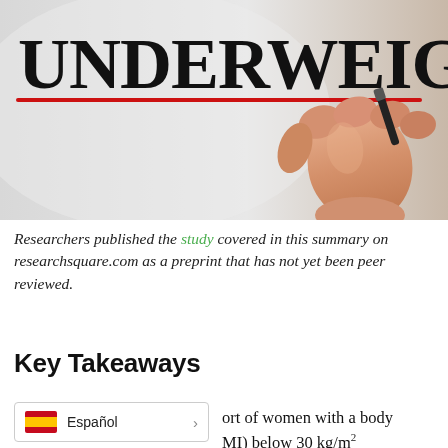[Figure (photo): A hand holding a marker writing the word UNDERWEIGHT in bold brush-script lettering, with a red underline beneath the text, on a light grey background.]
Researchers published the study covered in this summary on researchsquare.com as a preprint that has not yet been peer reviewed.
Key Takeaways
ort of women with a body MI) below 30 kg/m²